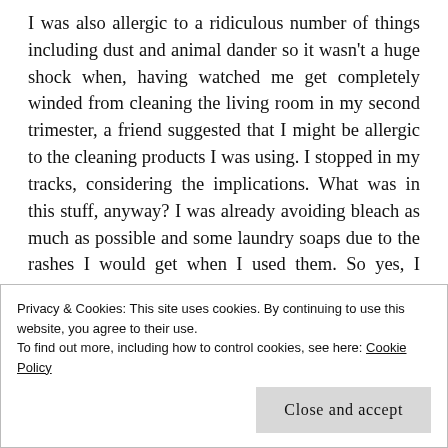I was also allergic to a ridiculous number of things including dust and animal dander so it wasn't a huge shock when, having watched me get completely winded from cleaning the living room in my second trimester, a friend suggested that I might be allergic to the cleaning products I was using. I stopped in my tracks, considering the implications. What was in this stuff, anyway? I was already avoiding bleach as much as possible and some laundry soaps due to the rashes I would get when I used them. So yes, I probably was allergic to the 409, Windex and other store-bought cleaners I was using, but what to do? I
Privacy & Cookies: This site uses cookies. By continuing to use this website, you agree to their use.
To find out more, including how to control cookies, see here: Cookie Policy
Close and accept